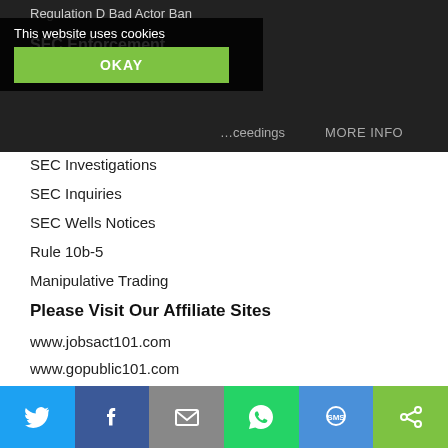Regulation D Bad Actor Ban
SEC Enforcement
This website uses cookies
SEC Investigations
SEC Inquiries
SEC Wells Notices
Rule 10b-5
Manipulative Trading
Please Visit Our Affiliate Sites
www.jobsact101.com
www.gopublic101.com
www.gopublicdirect.com
www.reversemergers101.com
Hamilton & Associates Law Group P.A.
Going Public Lawyers
101 Plaza Real South, Suite 202 North